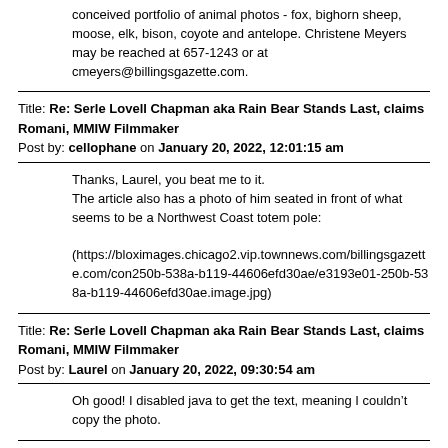conceived portfolio of animal photos - fox, bighorn sheep, moose, elk, bison, coyote and antelope. Christene Meyers may be reached at 657-1243 or at cmeyers@billingsgazette.com.
Title: Re: Serle Lovell Chapman aka Rain Bear Stands Last, claims Romani, MMIW Filmmaker
Post by: cellophane on January 20, 2022, 12:01:15 am
Thanks, Laurel, you beat me to it.
The article also has a photo of him seated in front of what seems to be a Northwest Coast totem pole:

(https://bloximages.chicago2.vip.townnews.com/billingsgazette.com/con250b-538a-b119-44606efd30ae/e3193e01-250b-538a-b119-44606efd30ae.image.jpg)
Title: Re: Serle Lovell Chapman aka Rain Bear Stands Last, claims Romani, MMIW Filmmaker
Post by: Laurel on January 20, 2022, 09:30:54 am
Oh good! I disabled java to get the text, meaning I couldn’t copy the photo.
Title: Re: Serle Lovell Chapman aka Rain Bear Stands Last, claims Romani, MMIW Filmmaker
Post by: Defend the Sacred on January 20, 2022, 08:27:15 pm